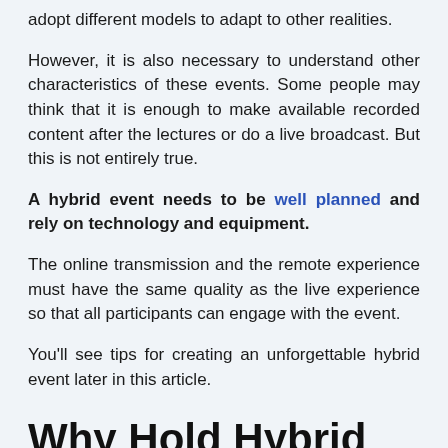adopt different models to adapt to other realities.
However, it is also necessary to understand other characteristics of these events. Some people may think that it is enough to make available recorded content after the lectures or do a live broadcast. But this is not entirely true.
A hybrid event needs to be well planned and rely on technology and equipment.
The online transmission and the remote experience must have the same quality as the live experience so that all participants can engage with the event.
You'll see tips for creating an unforgettable hybrid event later in this article.
Why Hold Hybrid Events?